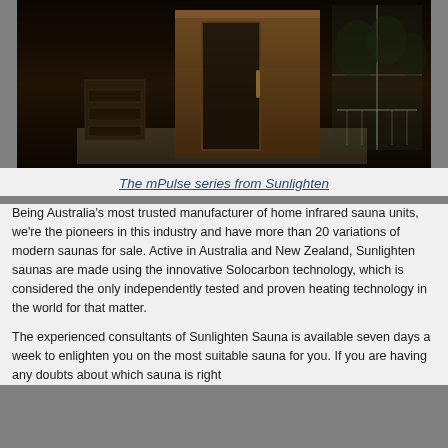[Figure (photo): Indoor infrared sauna unit (mPulse series from Sunlighten) placed in a dark room with a balcony/window visible in the background. The sauna is made of wood with a glass door.]
The mPulse series from Sunlighten
Being Australia's most trusted manufacturer of home infrared sauna units, we're the pioneers in this industry and have more than 20 variations of modern saunas for sale. Active in Australia and New Zealand, Sunlighten saunas are made using the innovative Solocarbon technology, which is considered the only independently tested and proven heating technology in the world for that matter.
The experienced consultants of Sunlighten Sauna is available seven days a week to enlighten you on the most suitable sauna for you. If you are having any doubts about which sauna is right